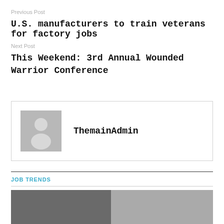Previous Post
U.S. manufacturers to train veterans for factory jobs
Next Post
This Weekend: 3rd Annual Wounded Warrior Conference
ThemainAdmin
JOB TRENDS
[Figure (photo): Partial photo visible at bottom of page]